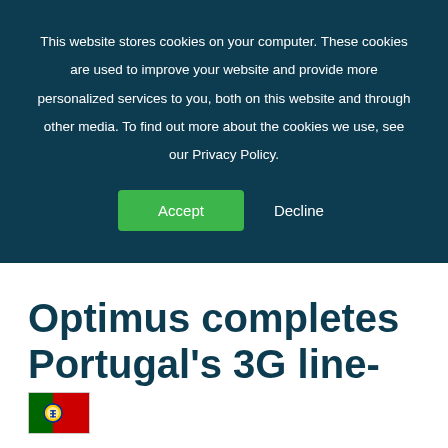This website stores cookies on your computer. These cookies are used to improve your website and provide more personalized services to you, both on this website and through other media. To find out more about the cookies we use, see our Privacy Policy.
Accept | Decline
Optimus completes Portugal's 3G line-up
[Figure (illustration): Portuguese flag icon]